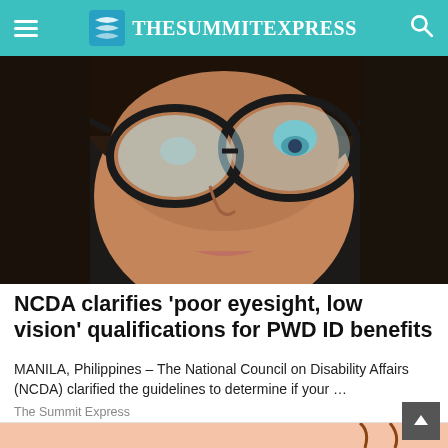TheSummitExpress
[Figure (photo): Close-up photo of a young woman wearing large black-framed glasses, looking upward, against a dark background.]
NCDA clarifies 'poor eyesight, low vision' qualifications for PWD ID benefits
MANILA, Philippines – The National Council on Disability Affairs (NCDA) clarified the guidelines to determine if your …
The Summit Express
[Figure (illustration): Partial illustration with peach/salmon background, partially visible.]